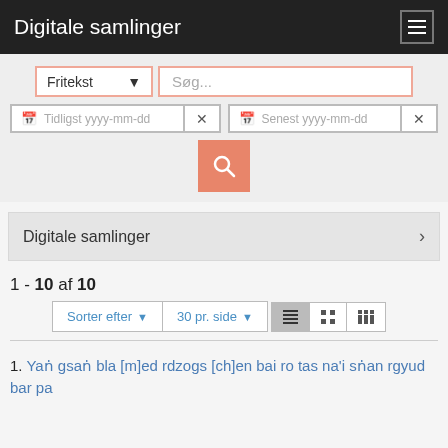Digitale samlinger
[Figure (screenshot): Search interface with Fritekst dropdown, Søg... text input, two date fields (Tidligst yyyy-mm-dd and Senest yyyy-mm-dd) with clear buttons, and an orange search button]
Digitale samlinger >
1 - 10 af 10
Sorter efter ▾   30 pr. side ▾   [list view] [grid view] [mosaic view]
1. Yaṅ gsaṅ bla [m]ed rdzogs [ch]en bai ro tas na'i sṅan rgyud bar pa